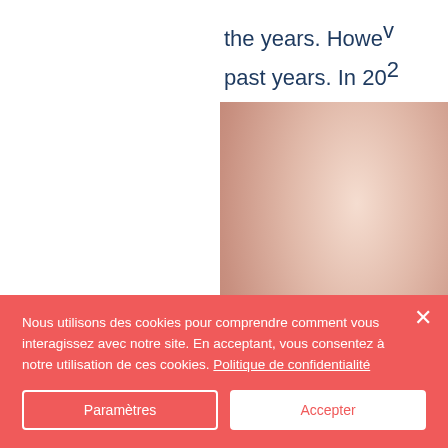the years. However, past years. In 20…
[Figure (photo): Partial view of a photo with warm peach/salmon tones, likely a person or object, shown in the upper right area of the page.]
Nous utilisons des cookies pour comprendre comment vous interagissez avec notre site. En acceptant, vous consentez à notre utilisation de ces cookies. Politique de confidentialité
Paramètres
Accepter